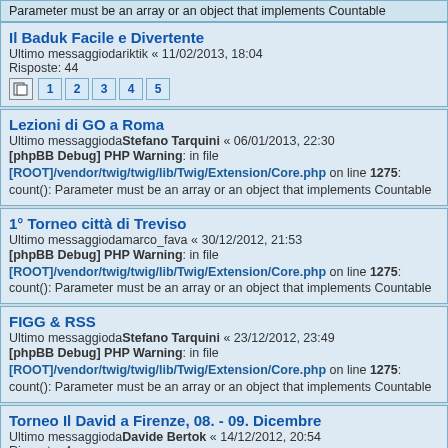Parameter must be an array or an object that implements Countable
Il Baduk Facile e Divertente
Ultimo messaggiodariktik « 11/02/2013, 18:04
Risposte: 44
Pages: 1 2 3 4 5
Lezioni di GO a Roma
Ultimo messaggiodaStefano Tarquini « 06/01/2013, 22:30
[phpBB Debug] PHP Warning: in file [ROOT]/vendor/twig/twig/lib/Twig/Extension/Core.php on line 1275: count(): Parameter must be an array or an object that implements Countable
1° Torneo città di Treviso
Ultimo messaggiodamarco_fava « 30/12/2012, 21:53
[phpBB Debug] PHP Warning: in file [ROOT]/vendor/twig/twig/lib/Twig/Extension/Core.php on line 1275: count(): Parameter must be an array or an object that implements Countable
FIGG & RSS
Ultimo messaggiodaStefano Tarquini « 23/12/2012, 23:49
[phpBB Debug] PHP Warning: in file [ROOT]/vendor/twig/twig/lib/Twig/Extension/Core.php on line 1275: count(): Parameter must be an array or an object that implements Countable
Torneo Il David a Firenze, 08. - 09. Dicembre
Ultimo messaggiodaDavide Bertok « 14/12/2012, 20:54
Risposte: 4
[phpBB Debug] PHP Warning: in file [ROOT]/vendor/twig/twig/lib/Twig/Extension/Core.php on line 1275: count(): Parameter must be an array or an object that implements Countable
Il taglio del sito figg.eu
Ultimo messaggiodaStefano Tarquini « 02/12/2012, 0:51
Risposte: 8
[phpBB Debug] PHP Warning: in file [ROOT]/vendor/twig/twig/lib/Twig/Extension/Core.php on line 1275: count(): Parameter must be an array or an object that implements Countable